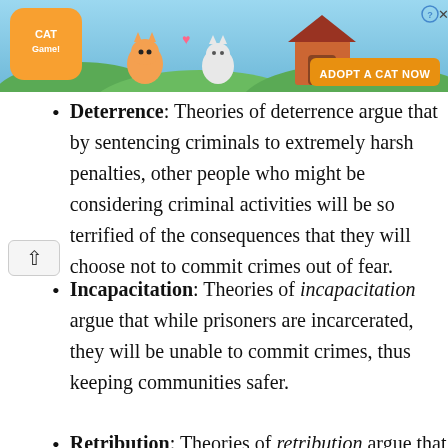[Figure (screenshot): Advertisement banner for Cat Game mobile app with cartoon cats and 'Adopt a Cat Now' button]
Deterrence: Theories of deterrence argue that by sentencing criminals to extremely harsh penalties, other people who might be considering criminal activities will be so terrified of the consequences that they will choose not to commit crimes out of fear.
Incapacitation: Theories of incapacitation argue that while prisoners are incarcerated, they will be unable to commit crimes, thus keeping communities safer.
Retribution: Theories of retribution argue that